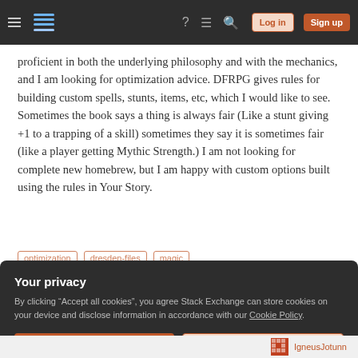Stack Exchange navigation bar with Log in and Sign up buttons
proficient in both the underlying philosophy and with the mechanics, and I am looking for optimization advice. DFRPG gives rules for building custom spells, stunts, items, etc, which I would like to see. Sometimes the book says a thing is always fair (Like a stunt giving +1 to a trapping of a skill) sometimes they say it is sometimes fair (like a player getting Mythic Strength.) I am not looking for complete new homebrew, but I am happy with custom options built using the rules in Your Story.
optimization
dresden-files
magic
Your privacy
By clicking "Accept all cookies", you agree Stack Exchange can store cookies on your device and disclose information in accordance with our Cookie Policy.
Accept all cookies | Customize settings
IgneusJotunn